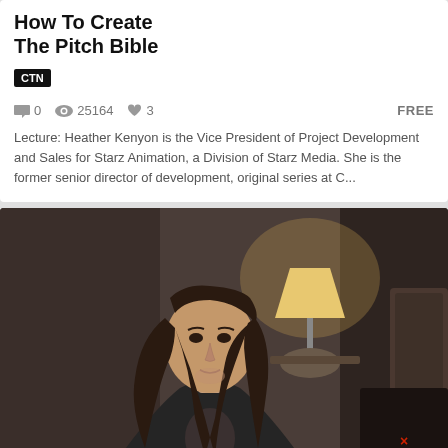How To Create The Pitch Bible
CTN
0  25164  3  FREE
Lecture: Heather Kenyon is the Vice President of Project Development and Sales for Starz Animation, a Division of Starz Media. She is the former senior director of development, original series at C...
[Figure (photo): A woman with long dark hair wearing a dark jacket, seated in a room with a lamp and chair in the background. A small red X mark is visible in the lower right corner.]
A Conversation with Claire Wendling
CTN